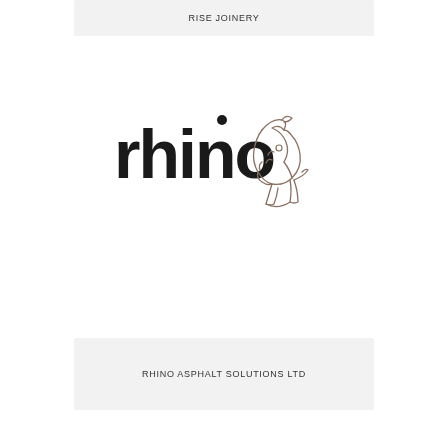RISE JOINERY
[Figure (logo): Rhino logo: bold black lowercase 'rhino' text with a rhino head sketch outline in brown/taupe to the right]
RHINO ASPHALT SOLUTIONS LTD